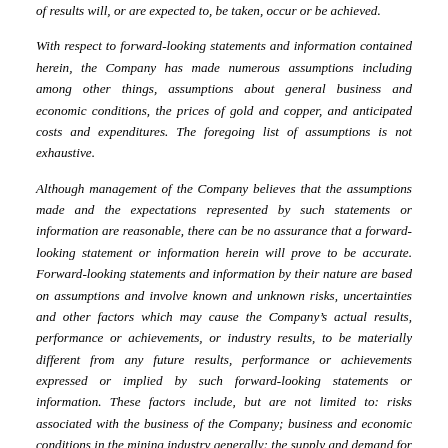of results will, or are expected to, be taken, occur or be achieved.
With respect to forward-looking statements and information contained herein, the Company has made numerous assumptions including among other things, assumptions about general business and economic conditions, the prices of gold and copper, and anticipated costs and expenditures. The foregoing list of assumptions is not exhaustive.
Although management of the Company believes that the assumptions made and the expectations represented by such statements or information are reasonable, there can be no assurance that a forward-looking statement or information herein will prove to be accurate. Forward-looking statements and information by their nature are based on assumptions and involve known and unknown risks, uncertainties and other factors which may cause the Company's actual results, performance or achievements, or industry results, to be materially different from any future results, performance or achievements expressed or implied by such forward-looking statements or information. These factors include, but are not limited to: risks associated with the business of the Company; business and economic conditions in the mining industry generally; the supply and demand for labour and other project inputs; changes in commodity prices; changes in interest